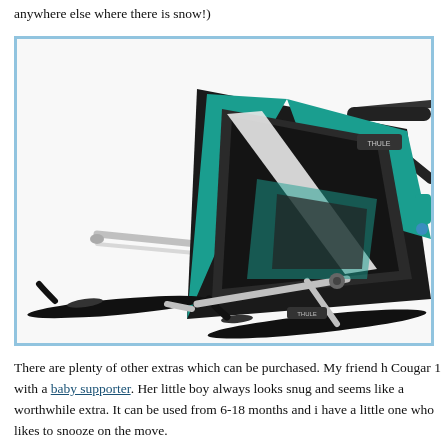anywhere else where there is snow!)
[Figure (photo): A Thule Chariot Cougar child carrier on ski attachment, black and teal colored, with ski poles/frame, shown on white background with blue border frame.]
There are plenty of other extras which can be purchased. My friend h Cougar 1 with a baby supporter. Her little boy always looks snug and seems like a worthwhile extra. It can be used from 6-18 months and i have a little one who likes to snooze on the move.